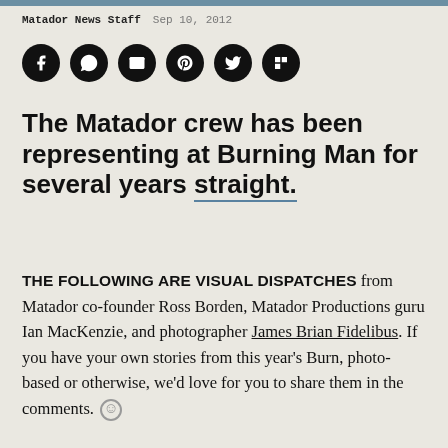Matador News Staff   Sep 10, 2012
[Figure (illustration): Six black circular social media share icons for Facebook, WhatsApp, email, Pinterest, Twitter, and Flipboard]
The Matador crew has been representing at Burning Man for several years straight.
THE FOLLOWING ARE VISUAL DISPATCHES from Matador co-founder Ross Borden, Matador Productions guru Ian MacKenzie, and photographer James Brian Fidelibus. If you have your own stories from this year's Burn, photo-based or otherwise, we'd love for you to share them in the comments.